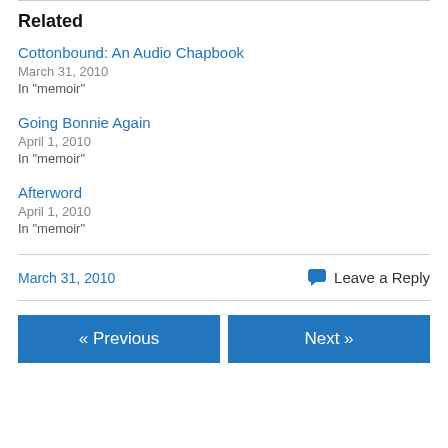Related
Cottonbound: An Audio Chapbook
March 31, 2010
In "memoir"
Going Bonnie Again
April 1, 2010
In "memoir"
Afterword
April 1, 2010
In "memoir"
March 31, 2010
Leave a Reply
« Previous
Next »